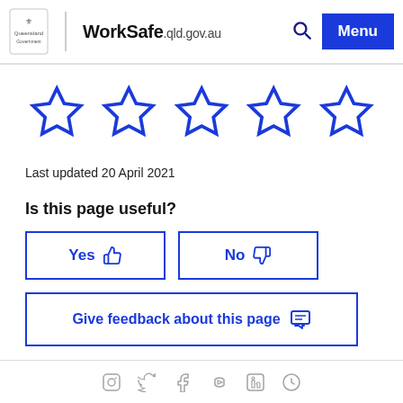WorkSafe.qld.gov.au
[Figure (other): Five empty star rating icons in blue outline]
Last updated 20 April 2021
Is this page useful?
[Figure (other): Yes thumbs-up button and No thumbs-down button, both outlined in blue]
[Figure (other): Give feedback about this page button with chat icon, outlined in blue]
Social media icons row